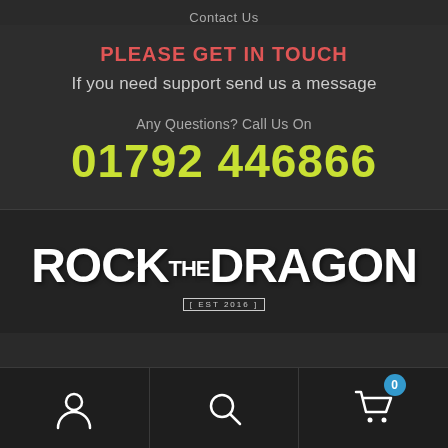Contact Us
PLEASE GET IN TOUCH
If you need support send us a message
Any Questions? Call Us On
01792 446866
[Figure (logo): Rock The Dragon logo in white brush-style text with 'THE' in smaller text and '[EST 2016]' badge below]
[Figure (infographic): Bottom navigation bar with user/account icon, search icon, and shopping cart icon with blue badge showing 0]